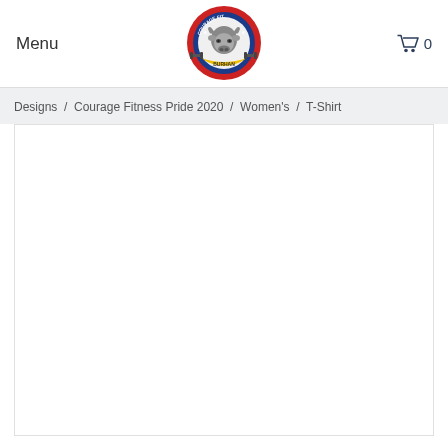Menu
[Figure (logo): Courage Fitness circular logo with a bull head in center, red and blue circle border, yellow banner with text, and crossed dumbbells]
0
Designs / Courage Fitness Pride 2020 / Women's / T-Shirt